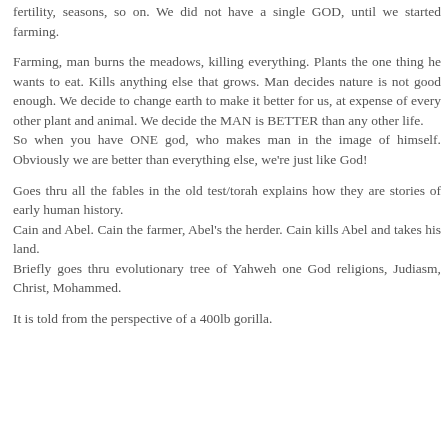fertility, seasons, so on. We did not have a single GOD, until we started farming.
Farming, man burns the meadows, killing everything. Plants the one thing he wants to eat. Kills anything else that grows. Man decides nature is not good enough. We decide to change earth to make it better for us, at expense of every other plant and animal. We decide the MAN is BETTER than any other life.
So when you have ONE god, who makes man in the image of himself. Obviously we are better than everything else, we're just like God!
Goes thru all the fables in the old test/torah explains how they are stories of early human history.
Cain and Abel. Cain the farmer, Abel's the herder. Cain kills Abel and takes his land.
Briefly goes thru evolutionary tree of Yahweh one God religions, Judiasm, Christ, Mohammed.
It is told from the perspective of a 400lb gorilla.